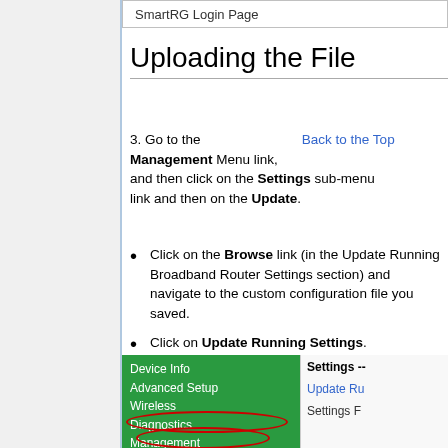[Figure (screenshot): SmartRG Login Page label in a bordered bar]
Uploading the File
3. Go to the Management Menu link, and then click on the Settings sub-menu link and then on the Update.
Click on the Browse link (in the Update Running Broadband Router Settings section) and navigate to the custom configuration file you saved.
Click on Update Running Settings.
[Figure (screenshot): SmartRG router management interface showing green navigation menu with Device Info, Advanced Setup, Wireless, Diagnostics, Management (circled in red), Settings (circled in red), Backup menu items, and Settings panel on the right showing Update Running Settings and Settings File options.]